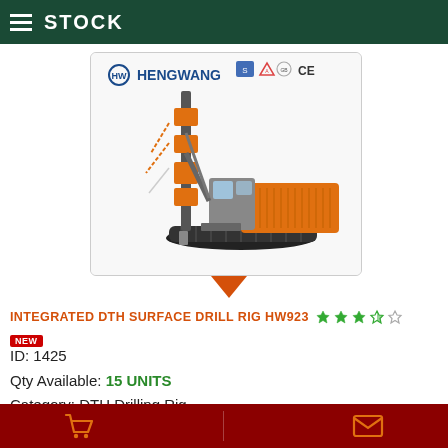STOCK
[Figure (photo): Hengwang Integrated DTH Surface Drill Rig HW923 - orange and grey crawler-mounted drilling machine with certification logos (CE, GB, etc.) and Hengwang brand logo]
INTEGRATED DTH SURFACE DRILL RIG HW923
NEW
ID: 1425
Qty Available: 15 UNITS
Category: DTH Drilling Rig
Manufactured by: Shandong Hengwang Group
Shopping cart icon | Envelope icon